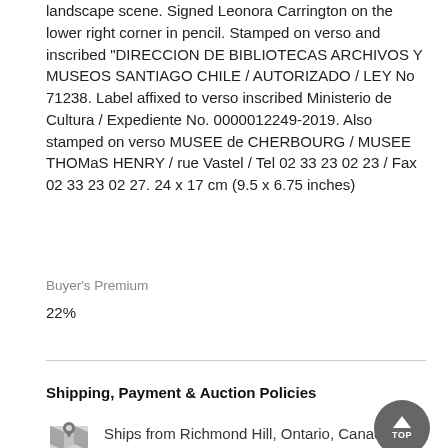landscape scene. Signed Leonora Carrington on the lower right corner in pencil. Stamped on verso and inscribed "DIRECCION DE BIBLIOTECAS ARCHIVOS Y MUSEOS SANTIAGO CHILE / AUTORIZADO / LEY No 71238. Label affixed to verso inscribed Ministerio de Cultura / Expediente No. 0000012249-2019. Also stamped on verso MUSEE de CHERBOURG / MUSEE THOMaS HENRY / rue Vastel / Tel 02 33 23 02 23 / Fax 02 33 23 02 27. 24 x 17 cm (9.5 x 6.75 inches)
Buyer's Premium
22%
Shipping, Payment & Auction Policies
Ships from Richmond Hill, Ontario, Canada